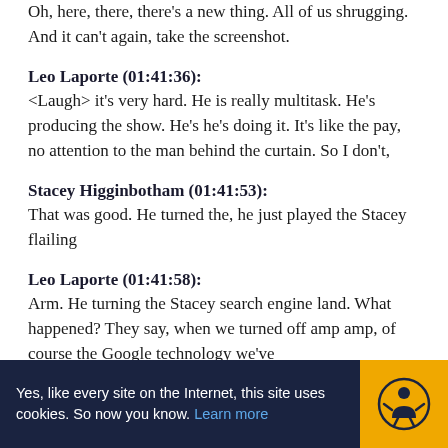Oh, here, there, there's a new thing. All of us shrugging. And it can't again, take the screenshot.
Leo Laporte (01:41:36):
<Laugh> it's very hard. He is really multitask. He's producing the show. He's he's doing it. It's like the pay, no attention to the man behind the curtain. So I don't,
Stacey Higginbotham (01:41:53):
That was good. He turned the, he just played the Stacey flailing
Leo Laporte (01:41:58):
Arm. He turning the Stacey search engine land. What happened? They say, when we turned off amp amp, of course the Google technology we've
Yes, like every site on the Internet, this site uses cookies. So now you know. Learn more